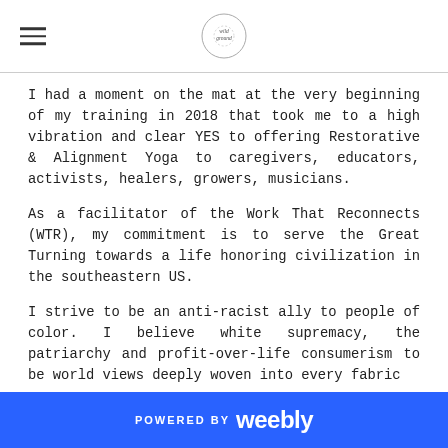[hamburger menu icon] [wild ground logo]
I had a moment on the mat at the very beginning of my training in 2018 that took me to a high vibration and clear YES to offering Restorative & Alignment Yoga to caregivers, educators, activists, healers, growers, musicians.
As a facilitator of the Work That Reconnects (WTR), my commitment is to serve the Great Turning towards a life honoring civilization in the southeastern US.
I strive to be an anti-racist ally to people of color. I believe white supremacy, the patriarchy and profit-over-life consumerism to be world views deeply woven into every fabric
POWERED BY weebly